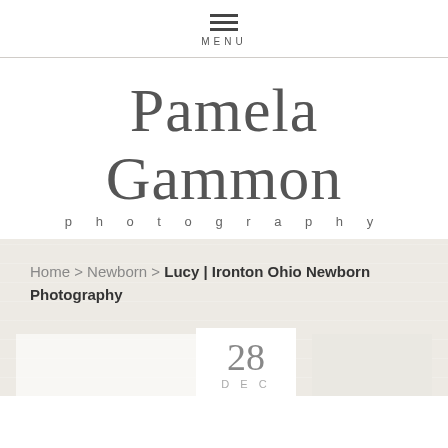MENU
Pamela Gammon photography
Home > Newborn > Lucy | Ironton Ohio Newborn Photography
28 DEC